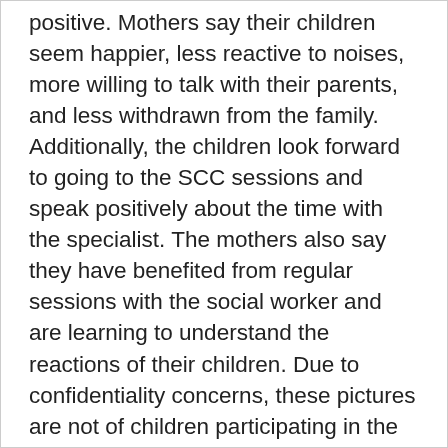positive. Mothers say their children seem happier, less reactive to noises, more willing to talk with their parents, and less withdrawn from the family. Additionally, the children look forward to going to the SCC sessions and speak positively about the time with the specialist. The mothers also say they have benefited from regular sessions with the social worker and are learning to understand the reactions of their children. Due to confidentiality concerns, these pictures are not of children participating in the Trauma Recovery and Empowerment Project; rather, they are post images of children at SCC.